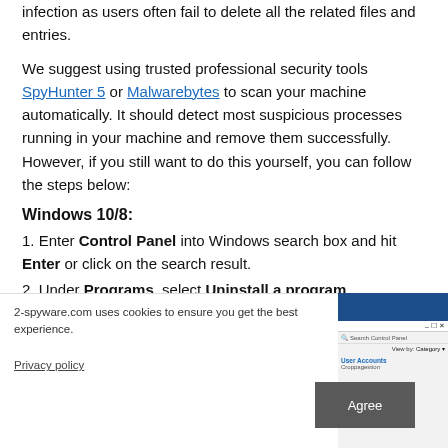infection as users often fail to delete all the related files and entries.
We suggest using trusted professional security tools SpyHunter 5 or Malwarebytes to scan your machine automatically. It should detect most suspicious processes running in your machine and remove them successfully. However, if you still want to do this yourself, you can follow the steps below:
Windows 10/8:
1. Enter Control Panel into Windows search box and hit Enter or click on the search result.
2. Under Programs, select Uninstall a program.
2-spyware.com uses cookies to ensure you get the best experience.
Privacy policy
[Figure (screenshot): Screenshot of Windows Control Panel showing search bar and Category view with User Accounts section visible]